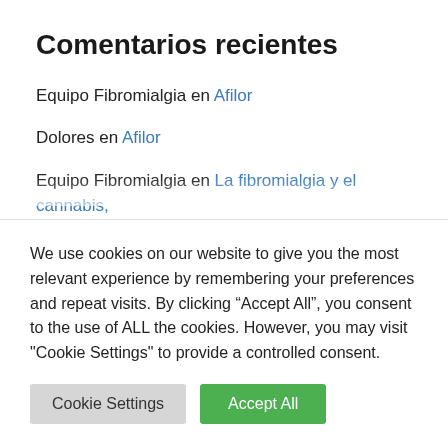Comentarios recientes
Equipo Fibromialgia en Afilor
Dolores en Afilor
Equipo Fibromialgia en La fibromialgia y el cannabis, ¿funciona?, ¿es recomendable?
Diana en La fibromialgia y el cannabis, ¿funciona?, ¿es recomendable?
We use cookies on our website to give you the most relevant experience by remembering your preferences and repeat visits. By clicking “Accept All”, you consent to the use of ALL the cookies. However, you may visit "Cookie Settings" to provide a controlled consent.